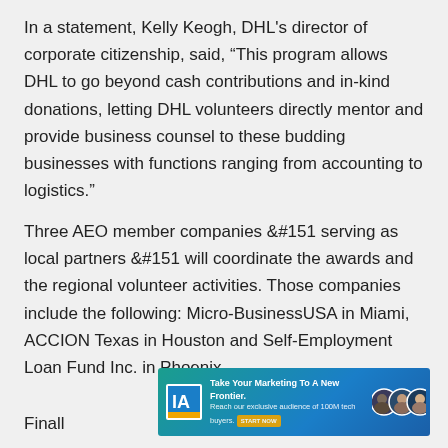In a statement, Kelly Keogh, DHL's director of corporate citizenship, said, “This program allows DHL to go beyond cash contributions and in-kind donations, letting DHL volunteers directly mentor and provide business counsel to these budding businesses with functions ranging from accounting to logistics.”
Three AEO member companies &#151 serving as local partners &#151 will coordinate the awards and the regional volunteer activities. Those companies include the following: Micro-BusinessUSA in Miami, ACCION Texas in Houston and Self-Employment Loan Fund Inc. in Phoenix.
[Figure (other): Advertisement banner: 'Take Your Marketing To A New Frontier. Reach our exclusive audience of 100M tech buyers.' with a logo, CTA button, and photos of people.]
Finall